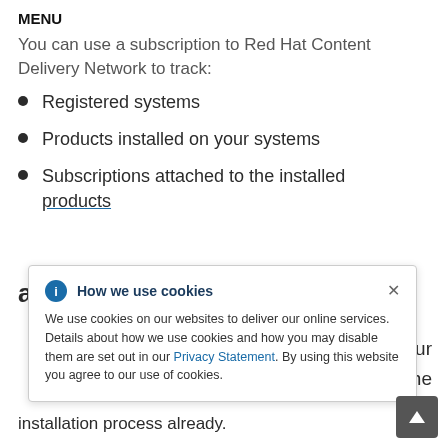MENU
You can use a subscription to Red Hat Content Delivery Network to track:
Registered systems
Products installed on your systems
Subscriptions attached to the installed products
[Figure (screenshot): Cookie consent banner overlay: 'How we use cookies' with info icon and close button. Body text: 'We use cookies on our websites to deliver our online services. Details about how we use cookies and how you may disable them are set out in our Privacy Statement. By using this website you agree to our use of cookies.']
installation process already.